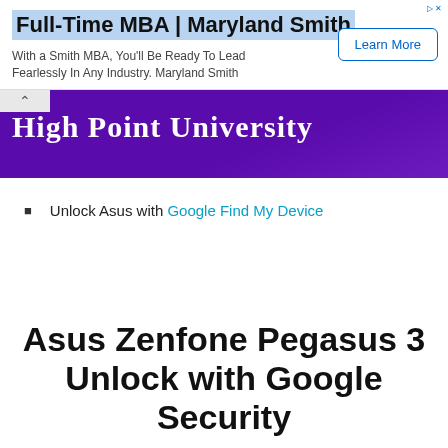[Figure (screenshot): Advertisement banner for Full-Time MBA at Maryland Smith with Learn More button]
[Figure (logo): High Point University purple banner with university name in white serif font]
Unlock Asus with Google Find My Device
Asus Zenfone Pegasus 3 Unlock with Google Security